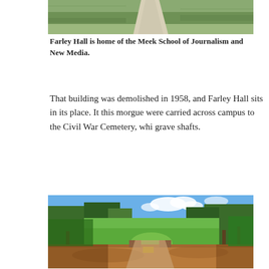[Figure (photo): Top portion of Farley Hall building exterior, showing a sidewalk and green grass, partially cropped at top]
Farley Hall is home of the Meek School of Journalism and New Media.
That building was demolished in 1958, and Farley Hall sits in its place. It this morgue were carried across campus to the Civil War Cemetery, whi grave shafts.
[Figure (photo): Aerial/elevated view of the Civil War Cemetery on campus, showing a grassy field surrounded by tall pine and hardwood trees, with a dirt/gravel path leading to a low brick or stone gate, photographed on a sunny day with blue sky and clouds]
The Civil War Cemetery, located on campus behind the Tad Smith Coliseum.
There are several word-of-mouth accounts of people encountering a pre soldier or a student from around that time, but of course, that can't be pr